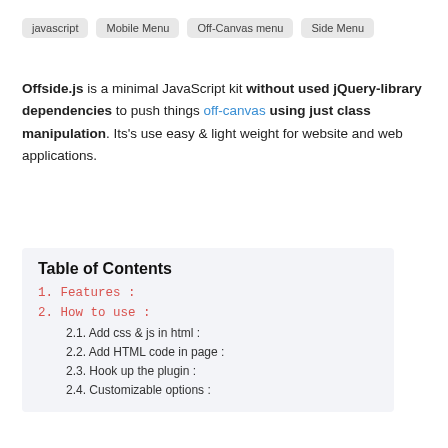javascript | Mobile Menu | Off-Canvas menu | Side Menu
Offside.js is a minimal JavaScript kit without used jQuery-library dependencies to push things off-canvas using just class manipulation. Its's use easy & light weight for website and web applications.
Table of Contents
1. Features :
2. How to use :
2.1. Add css & js in html :
2.2. Add HTML code in page :
2.3. Hook up the plugin :
2.4. Customizable options :